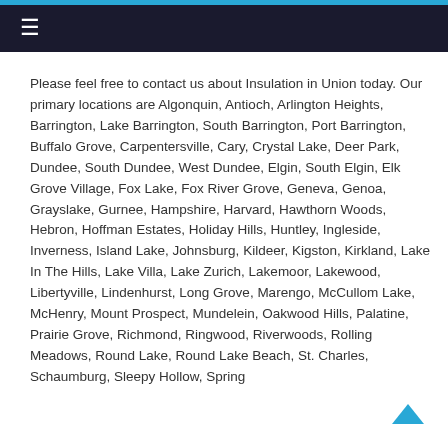≡
Please feel free to contact us about Insulation in Union today. Our primary locations are Algonquin, Antioch, Arlington Heights, Barrington, Lake Barrington, South Barrington, Port Barrington, Buffalo Grove, Carpentersville, Cary, Crystal Lake, Deer Park, Dundee, South Dundee, West Dundee, Elgin, South Elgin, Elk Grove Village, Fox Lake, Fox River Grove, Geneva, Genoa, Grayslake, Gurnee, Hampshire, Harvard, Hawthorn Woods, Hebron, Hoffman Estates, Holiday Hills, Huntley, Ingleside, Inverness, Island Lake, Johnsburg, Kildeer, Kigston, Kirkland, Lake In The Hills, Lake Villa, Lake Zurich, Lakemoor, Lakewood, Libertyville, Lindenhurst, Long Grove, Marengo, McCullom Lake, McHenry, Mount Prospect, Mundelein, Oakwood Hills, Palatine, Prairie Grove, Richmond, Ringwood, Riverwoods, Rolling Meadows, Round Lake, Round Lake Beach, St. Charles, Schaumburg, Sleepy Hollow, Spring